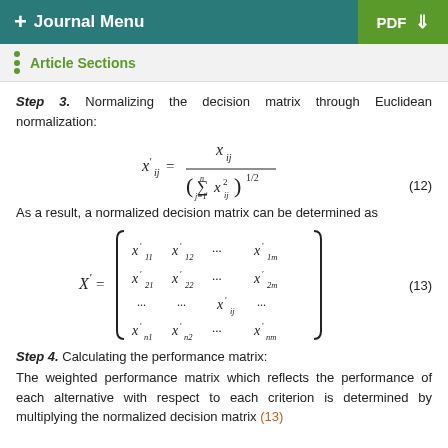+ Journal Menu | PDF ↓
Article Sections
Step 3. Normalizing the decision matrix through Euclidean normalization:
(12)
As a result, a normalized decision matrix can be determined as
(13)
Step 4. Calculating the performance matrix:
The weighted performance matrix which reflects the performance of each alternative with respect to each criterion is determined by multiplying the normalized decision matrix (13)